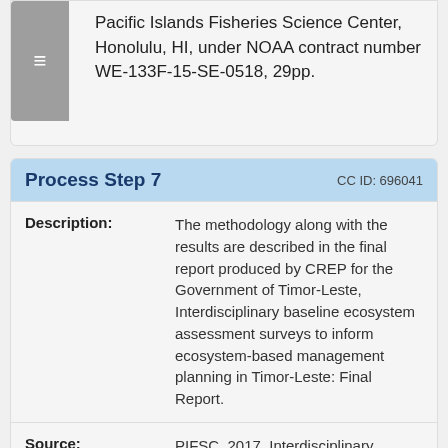Pacific Islands Fisheries Science Center, Honolulu, HI, under NOAA contract number WE-133F-15-SE-0518, 29pp.
Process Step 7   CC ID: 696041
Description: The methodology along with the results are described in the final report produced by CREP for the Government of Timor-Leste, Interdisciplinary baseline ecosystem assessment surveys to inform ecosystem-based management planning in Timor-Leste: Final Report.
Source: PIFSC. 2017. Interdisciplinary baseline ecosystem assessment surveys to